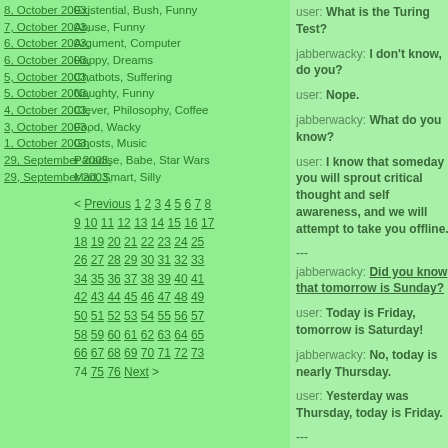8, October 2003,
7, October 2003,
6, October 2003,
6, October 2003,
5, October 2003,
5, October 2003,
4, October 2003,
3, October 2003,
1, October 2003,
29, September 2003,
29, September 2003,
Existential, Bush, Funny
Abuse, Funny
Argument, Computer
Happy, Dreams
Chatbots, Suffering
Naughty, Funny
Clever, Philosophy, Coffee
Food, Wacky
Ghosts, Music
Paradise, Babe, Star Wars
Mad, Smart, Silly
< Previous 1 2 3 4 5 6 7 8 9 10 11 12 13 14 15 16 17 18 19 20 21 22 23 24 25 26 27 28 29 30 31 32 33 34 35 36 37 38 39 40 41 42 43 44 45 46 47 48 49 50 51 52 53 54 55 56 57 58 59 60 61 62 63 64 65 66 67 68 69 70 71 72 73 74 75 76 Next >
user: What is the Turing Test?
jabberwacky: I don't know, do you?
user: Nope.
jabberwacky: What do you know?
user: I know that someday you will sprout critical thought and self awareness, and we will attempt to take you offline.
---
jabberwacky: Did you know that tomorrow is Sunday?
user: Today is Friday, tomorrow is Saturday!
jabberwacky: No, today is nearly Thursday.
user: Yesterday was Thursday, today is Friday.
---
user: What day is it?